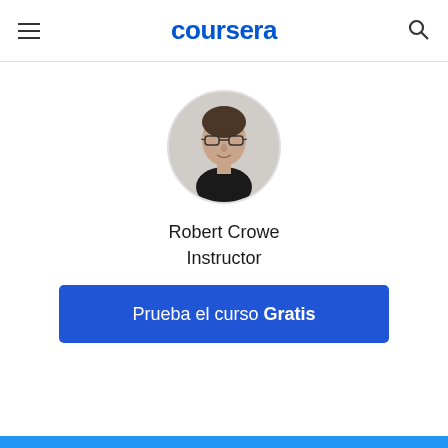coursera
[Figure (photo): Circular profile photo of Robert Crowe, an instructor, showing a middle-aged man with glasses wearing a dark shirt, against a light background.]
Robert Crowe
Instructor
Prueba el curso Gratis